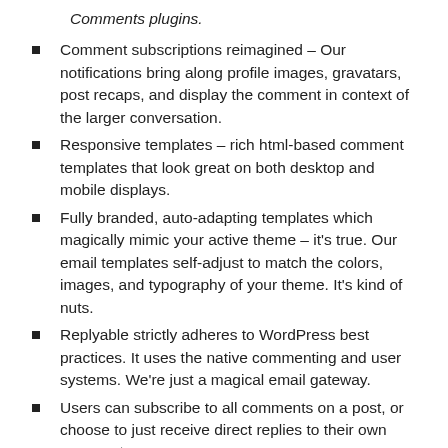Comments plugins.
Comment subscriptions reimagined – Our notifications bring along profile images, gravatars, post recaps, and display the comment in context of the larger conversation.
Responsive templates – rich html-based comment templates that look great on both desktop and mobile displays.
Fully branded, auto-adapting templates which magically mimic your active theme – it's true. Our email templates self-adjust to match the colors, images, and typography of your theme. It's kind of nuts.
Replyable strictly adheres to WordPress best practices. It uses the native commenting and user systems. We're just a magical email gateway.
Users can subscribe to all comments on a post, or choose to just receive direct replies to their own comments.